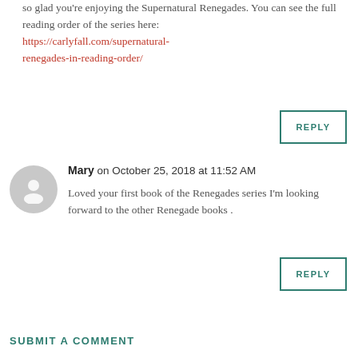so glad you're enjoying the Supernatural Renegades. You can see the full reading order of the series here: https://carlyfall.com/supernatural-renegades-in-reading-order/
REPLY
Mary on October 25, 2018 at 11:52 AM
Loved your first book of the Renegades series I'm looking forward to the other Renegade books .
REPLY
SUBMIT A COMMENT